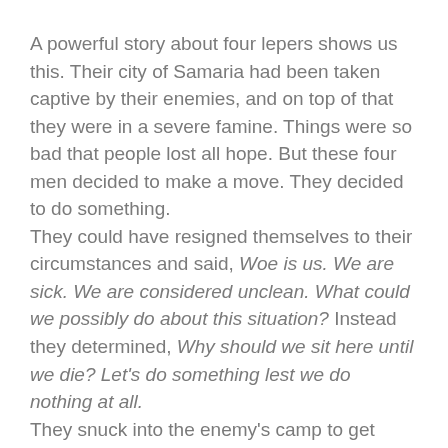A powerful story about four lepers shows us this. Their city of Samaria had been taken captive by their enemies, and on top of that they were in a severe famine. Things were so bad that people lost all hope. But these four men decided to make a move. They decided to do something.
They could have resigned themselves to their circumstances and said, Woe is us. We are sick. We are considered unclean. What could we possibly do about this situation? Instead they determined, Why should we sit here until we die? Let's do something lest we do nothing at all.
They snuck into the enemy's camp to get some food and when they arrived, to their amazement, no one was in the camp! The spoils were just . . . sitting there.
As these men were walking toward the camp, God was with them. God caused the enemy to hear what sounded like an army marching upon them. So when the encampment heard the sound of chariots and horses, they were seized with panic and fled for their lives. They